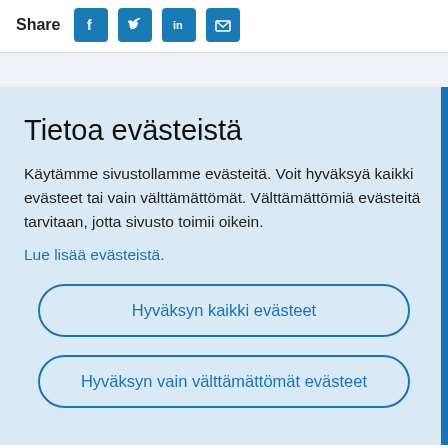Share
Tietoa evästeistä
Käytämme sivustollamme evästeitä. Voit hyväksyä kaikki evästeet tai vain välttämättömät. Välttämättömiä evästeitä tarvitaan, jotta sivusto toimii oikein.
Lue lisää evästeistä.
Hyväksyn kaikki evästeet
Hyväksyn vain välttämättömät evästeet